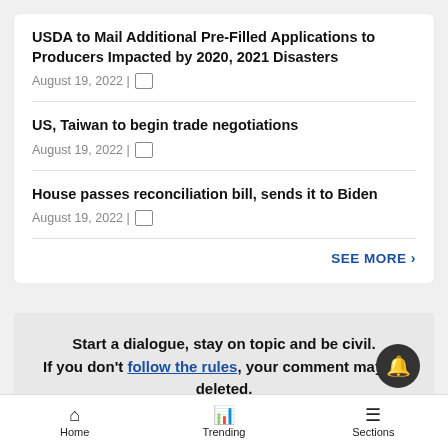USDA to Mail Additional Pre-Filled Applications to Producers Impacted by 2020, 2021 Disasters
August 19, 2022 |
US, Taiwan to begin trade negotiations
August 19, 2022 |
House passes reconciliation bill, sends it to Biden
August 19, 2022 |
SEE MORE >
Start a dialogue, stay on topic and be civil. If you don't follow the rules, your comment may be deleted.
Home   Trending   Sections